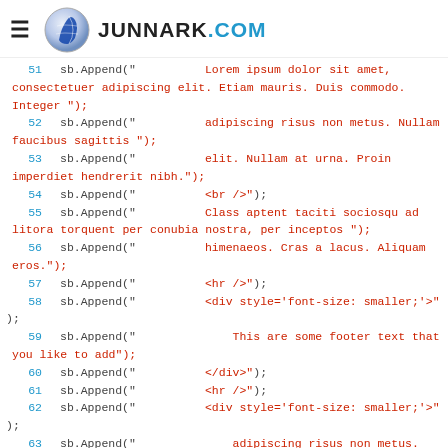JUNNARK.COM
51  sb.Append("  Lorem ipsum dolor sit amet, consectetuer adipiscing elit. Etiam mauris. Duis commodo. Integer ");
52  sb.Append("  adipiscing risus non metus. Nullam faucibus sagittis ");
53  sb.Append("  elit. Nullam at urna. Proin imperdiet hendrerit nibh.");
54  sb.Append("  <br />");
55  sb.Append("  Class aptent taciti sociosqu ad litora torquent per conubia nostra, per inceptos ");
56  sb.Append("  himenaeos. Cras a lacus. Aliquam eros.");
57  sb.Append("  <hr />");
58  sb.Append("  <div style='font-size: smaller;'>");
59  sb.Append("    This are some footer text that you like to add");
60  sb.Append("  </div>");
61  sb.Append("  <hr />");
62  sb.Append("  <div style='font-size: smaller;'>");
63  sb.Append("    adipiscing risus non metus. Nullam faucibus sagittis");